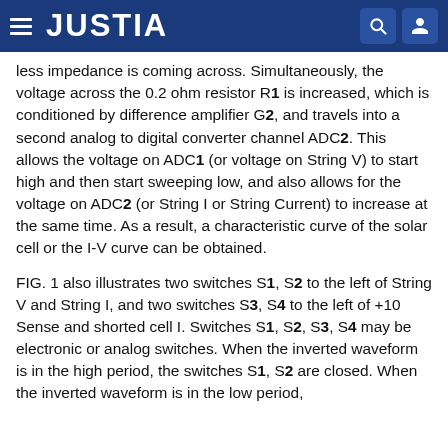JUSTIA
less impedance is coming across. Simultaneously, the voltage across the 0.2 ohm resistor R1 is increased, which is conditioned by difference amplifier G2, and travels into a second analog to digital converter channel ADC2. This allows the voltage on ADC1 (or voltage on String V) to start high and then start sweeping low, and also allows for the voltage on ADC2 (or String I or String Current) to increase at the same time. As a result, a characteristic curve of the solar cell or the I-V curve can be obtained.
FIG. 1 also illustrates two switches S1, S2 to the left of String V and String I, and two switches S3, S4 to the left of +10 Sense and shorted cell I. Switches S1, S2, S3, S4 may be electronic or analog switches. When the inverted waveform is in the high period, the switches S1, S2 are closed. When the inverted waveform is in the low period, the switches S3, S4 are...